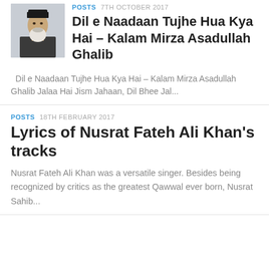[Figure (photo): Portrait photo of an elderly bearded man wearing a black cap]
Dil e Naadaan Tujhe Hua Kya Hai – Kalam Mirza Asadullah Ghalib
Dil e Naadaan Tujhe Hua Kya Hai – Kalam Mirza Asadullah Ghalib Jalaa Hai Jism Jahaan, Dil Bhee Jal...
POSTS  18TH FEBRUARY 2017
Lyrics of Nusrat Fateh Ali Khan's tracks
Nusrat Fateh Ali Khan was a versatile singer. Besides being recognized by critics as the greatest Qawwal ever born, Nusrat Sahib...